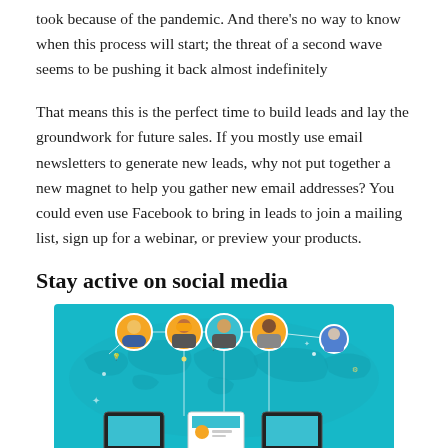took because of the pandemic. And there's no way to know when this process will start; the threat of a second wave seems to be pushing it back almost indefinitely
That means this is the perfect time to build leads and lay the groundwork for future sales. If you mostly use email newsletters to generate new leads, why not put together a new magnet to help you gather new email addresses? You could even use Facebook to bring in leads to join a mailing list, sign up for a webinar, or preview your products.
Stay active on social media
[Figure (illustration): Social media network infographic illustration showing diverse people avatars connected by lines over a teal world map background, with digital devices at the bottom.]